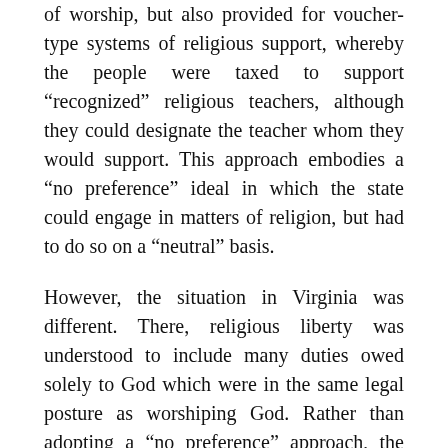of worship, but also provided for voucher-type systems of religious support, whereby the people were taxed to support “recognized” religious teachers, although they could designate the teacher whom they would support. This approach embodies a “no preference” ideal in which the state could engage in matters of religion, but had to do so on a “neutral” basis.
However, the situation in Virginia was different. There, religious liberty was understood to include many duties owed solely to God which were in the same legal posture as worshiping God. Rather than adopting a “no preference” approach, the Virginia Constitution adopted a “no jurisdiction” approach, reckoning the administration and performance of all religious duties as being free from any lawful civil